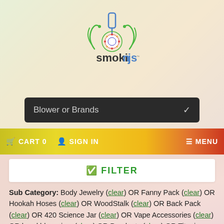[Figure (logo): Smokinjs logo with decorative plant/pipe icon above the text 'smokinjs']
Blower or Brands
CART 0   SIGN IN   MENU
✔ FILTER
Sub Category: Body Jewelry (clear) OR Fanny Pack (clear) OR Hookah Hoses (clear) OR WoodStalk (clear) OR Back Pack (clear) OR 420 Science Jar (clear) OR Vape Accessories (clear) OR hand blown jars (clear) OR Pendants (clear) OR Titanium (clear)